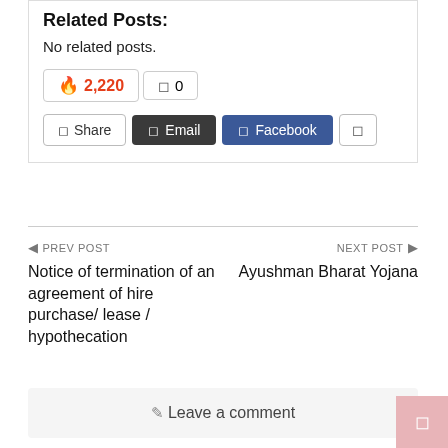Related Posts:
No related posts.
🔥 2,220   □ 0
□ Share   □ Email   □ Facebook   □
◀ PREV POST
NEXT POST ▶
Notice of termination of an agreement of hire purchase/ lease / hypothecation
Ayushman Bharat Yojana
✎ Leave a comment